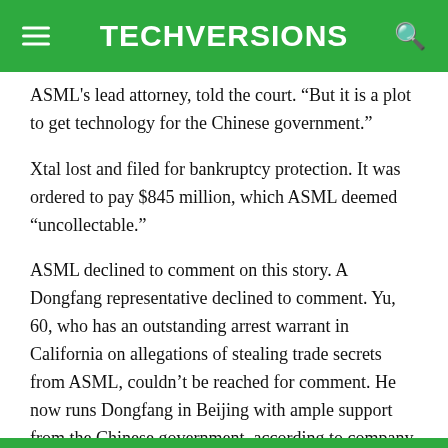TECHVERSIONS
ASML's lead attorney, told the court. “But it is a plot to get technology for the Chinese government.”
Xtal lost and filed for bankruptcy protection. It was ordered to pay $845 million, which ASML deemed “uncollectable.”
ASML declined to comment on this story. A Dongfang representative declined to comment. Yu, 60, who has an outstanding arrest warrant in California on allegations of stealing trade secrets from ASML, couldn’t be reached for comment. He now runs Dongfang in Beijing with ample support from the Chinese government, according to company statements and other Chinese documents.
The allegations the company made in court and its annual